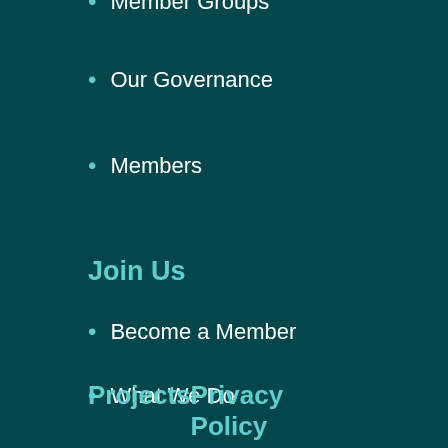Member Groups
Our Governance
Members
Join Us
Become a Member
What We Do
All Campaigns
Events
Projects    Privacy Policy